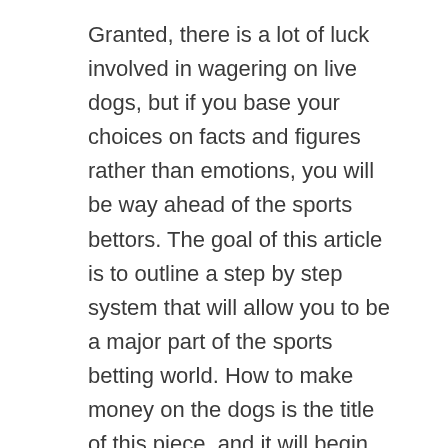Granted, there is a lot of luck involved in wagering on live dogs, but if you base your choices on facts and figures rather than emotions, you will be way ahead of the sports bettors. The goal of this article is to outline a step by step system that will allow you to be a major part of the sports betting world. How to make money on the dogs is the title of this piece, and it will begin with some background work.
When I began to see the benefits of starting to bet outfit my dogs, the initial thought was that it might be illegal. From what I could gather information online, betting the local dogs in violation of the AKA laws in Georgia, is pretty much unheard of. There is a reason that the races are allowed to go on with or without approval. The real issue here is a matter of local politics, not principle.